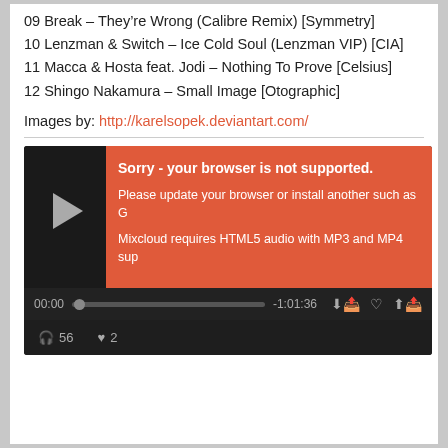09 Break – They’re Wrong (Calibre Remix) [Symmetry]
10 Lenzman & Switch – Ice Cold Soul (Lenzman VIP) [CIA]
11 Macca & Hosta feat. Jodi – Nothing To Prove [Celsius]
12 Shingo Nakamura – Small Image [Otographic]
Images by: http://karelsopek.deviantart.com/
[Figure (screenshot): Mixcloud embedded audio player with a red error overlay reading 'Sorry - your browser is not supported. Please update your browser or install another such as G... Mixcloud requires HTML5 audio with MP3 and MP4 sup...' Progress bar shows 00:00 and -1:01:36. Stats show 56 listens and 2 likes.]